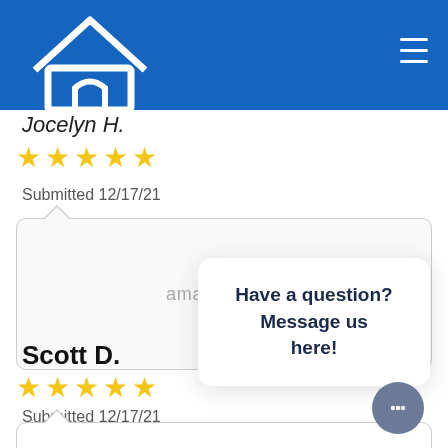[Figure (logo): White house/home icon on blue background with hamburger menu icon on right]
Jocelyn H.
[Figure (other): 5 yellow stars rating]
Submitted 12/17/21
amazing staff
Have a question? Message us here!
Scott D.
[Figure (other): 5 yellow stars rating]
Submitted 12/17/21